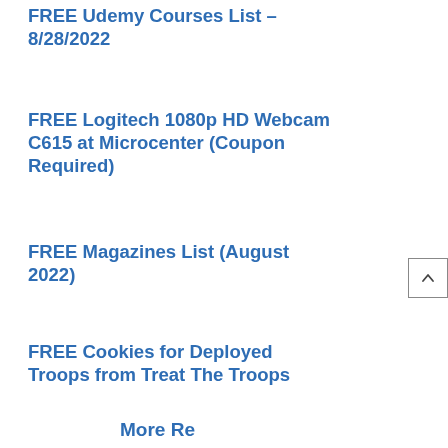FREE Udemy Courses List – 8/28/2022
FREE Logitech 1080p HD Webcam C615 at Microcenter (Coupon Required)
FREE Magazines List (August 2022)
FREE Cookies for Deployed Troops from Treat The Troops
More Rewards